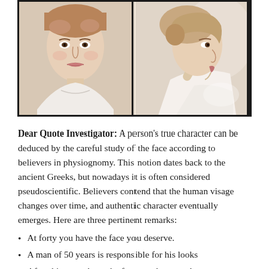[Figure (illustration): Two classical paintings side by side: left shows a young woman facing forward, right shows a young woman in profile, both in soft pastel tones on dark background.]
Dear Quote Investigator: A person’s true character can be deduced by the careful study of the face according to believers in physiognomy. This notion dates back to the ancient Greeks, but nowadays it is often considered pseudoscientific. Believers contend that the human visage changes over time, and authentic character eventually emerges. Here are three pertinent remarks:
At forty you have the face you deserve.
A man of 50 years is responsible for his looks
After thirty you have the face you have made yourself.